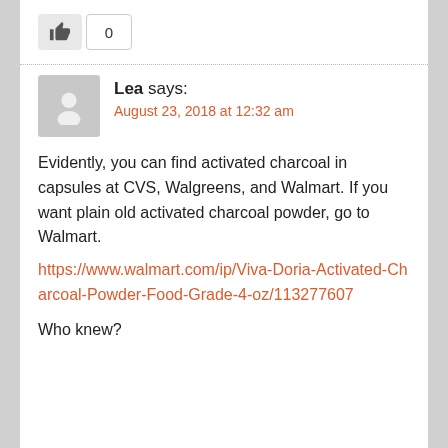[Figure (other): Thumbs-up like button with count box showing 0]
Lea says:
August 23, 2018 at 12:32 am

Evidently, you can find activated charcoal in capsules at CVS, Walgreens, and Walmart. If you want plain old activated charcoal powder, go to Walmart. https://www.walmart.com/ip/Viva-Doria-Activated-Charcoal-Powder-Food-Grade-4-oz/113277607

Who knew?